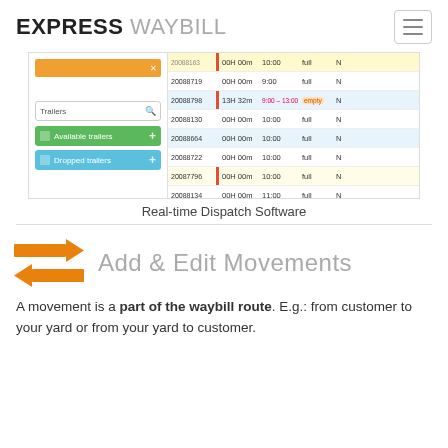EXPRESS WAYBILL
[Figure (screenshot): Screenshot of Express Waybill real-time dispatch software showing a trailer management interface with a panel listing Available trailers and Dropped trailers on the left, and a table of dispatch entries with IDs, durations, times, and statuses on the right.]
Real-time Dispatch Software
Add & Edit Movements
A movement is a part of the waybill route. E.g.: from customer to your yard or from your yard to customer.